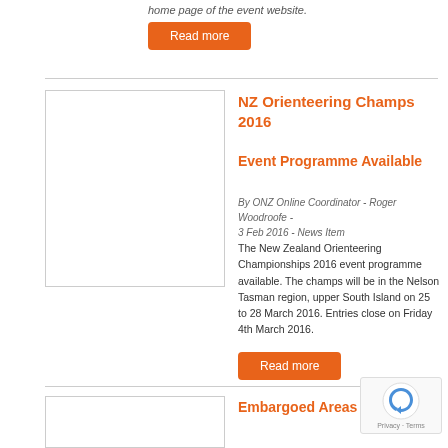home page of the event website.
Read more
NZ Orienteering Champs 2016 Event Programme Available
By ONZ Online Coordinator - Roger Woodroofe - 3 Feb 2016 - News Item
The New Zealand Orienteering Championships 2016 event programme available. The champs will be in the Nelson Tasman region, upper South Island on 25 to 28 March 2016. Entries close on Friday 4th March 2016.
Read more
Embargoed Areas – 2016 NZ